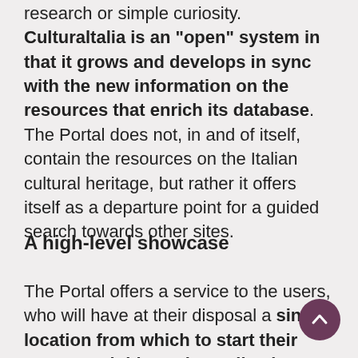research or simple curiosity. Culturaltalia is an "open" system in that it grows and develops in sync with the new information on the resources that enrich its database. The Portal does not, in and of itself, contain the resources on the Italian cultural heritage, but rather it offers itself as a departure point for a guided search towards other sites.
A high-level showcase
The Portal offers a service to the users, who will have at their disposal a single location from which to start their own search itineraries online in terms of Italian culture, and the operators in the field who want to share partners of high-level It...